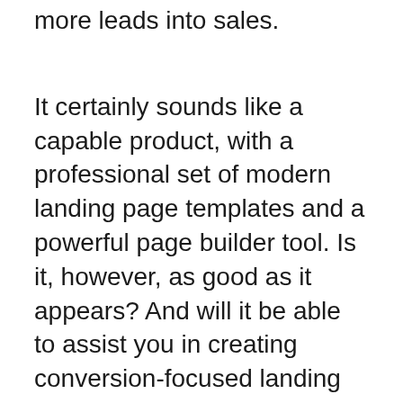more leads into sales.
It certainly sounds like a capable product, with a professional set of modern landing page templates and a powerful page builder tool. Is it, however, as good as it appears? And will it be able to assist you in creating conversion-focused landing pages with minimal effort? The relatively high price makes it seem expensive.
These are the questions we'll answer in our Instapage Review.